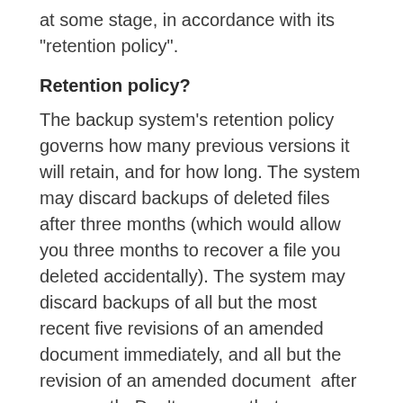at some stage, in accordance with its "retention policy".
Retention policy?
The backup system's retention policy governs how many previous versions it will retain, and for how long. The system may discard backups of deleted files after three months (which would allow you three months to recover a file you deleted accidentally). The system may discard backups of all but the most recent five revisions of an amended document immediately, and all but the revision of an amended document  after one month. Don't assume that your backup system will keep all revisions of documents forever. Check the online help and manuals to verify that the system's retention policy meets your needs.